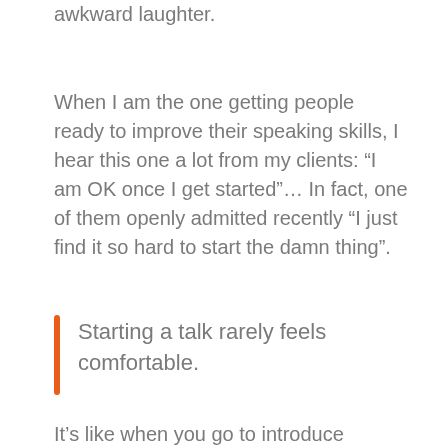awkward laughter.
When I am the one getting people ready to improve their speaking skills, I hear this one a lot from my clients: “I am OK once I get started”… In fact, one of them openly admitted recently “I just find it so hard to start the damn thing”.
Starting a talk rarely feels comfortable.
It’s like when you go to introduce